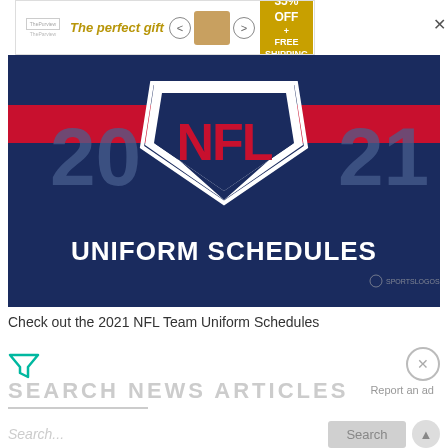[Figure (screenshot): Advertisement banner showing 'The perfect gift' with product images, navigation arrows, and a '35% OFF + FREE SHIPPING' offer badge in gold]
[Figure (photo): NFL Uniform Schedules promotional image featuring the NFL shield logo on a dark blue background with red stripe and the text 'UNIFORM SCHEDULES' at the bottom. Numbers '20' and '21' visible on sides. Sportslogos.net branding.]
Check out the 2021 NFL Team Uniform Schedules
[Figure (screenshot): Search news articles section with filter icon, close button, 'SEARCH NEWS ARTICLES' heading in light gray, 'Report an ad' link, search input field with placeholder 'Search...' and a Search button]